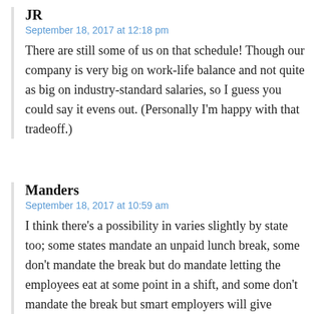JR
September 18, 2017 at 12:18 pm
There are still some of us on that schedule! Though our company is very big on work-life balance and not quite as big on industry-standard salaries, so I guess you could say it evens out. (Personally I'm happy with that tradeoff.)
Manders
September 18, 2017 at 10:59 am
I think there's a possibility in varies slightly by state too; some states mandate an unpaid lunch break, some don't mandate the break but do mandate letting the employees eat at some point in a shift, and some don't mandate the break but smart employers will give employees a break anyway.